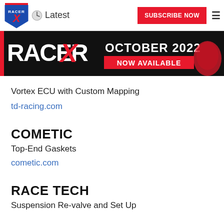Racer X — Latest | SUBSCRIBE NOW
[Figure (illustration): Racer X October 2022 Now Available banner with red and black branding and motocross rider]
Vortex ECU with Custom Mapping
td-racing.com
COMETIC
Top-End Gaskets
cometic.com
RACE TECH
Suspension Re-valve and Set Up